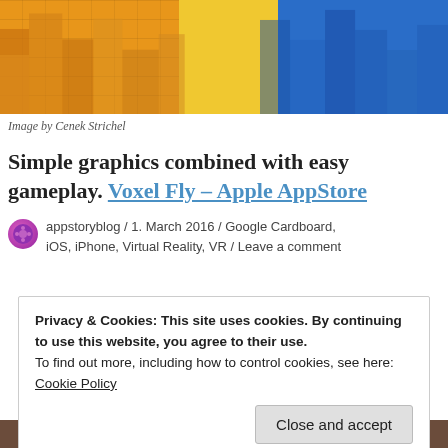[Figure (screenshot): Screenshot of a voxel-style mobile game showing colorful 3D cube environments with orange blocks on the left, yellow in the center, and blue on the right, with a vehicle/spacecraft in the middle.]
Image by Cenek Strichel
Simple graphics combined with easy gameplay. Voxel Fly – Apple AppStore
appstoryblog / 1. March 2016 / Google Cardboard, iOS, iPhone, Virtual Reality, VR / Leave a comment
Privacy & Cookies: This site uses cookies. By continuing to use this website, you agree to their use.
To find out more, including how to control cookies, see here:
Cookie Policy
Close and accept